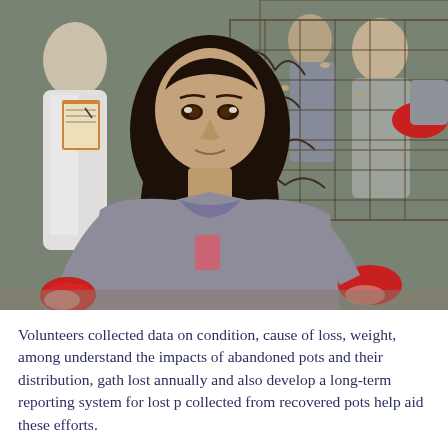[Figure (photo): Volunteers wearing gloves handling wire crab/lobster traps/pots during a derelict gear recovery effort. A young woman in a gray t-shirt with long dark hair is prominently in the center, wearing red and white gloves. Another person in a white jacket is visible on the left writing on a clipboard. Additional people in gray shirts are visible in the background.]
Volunteers collected data on condition, cause of loss, weight, among understand the impacts of abandoned pots and their distribution, gath lost annually and also develop a long-term reporting system for lost p collected from recovered pots help aid these efforts.